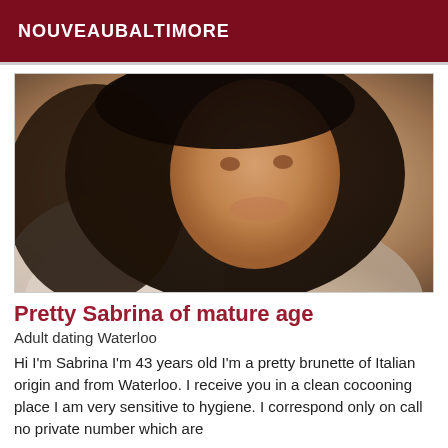NOUVEAUBALTIMORE
[Figure (photo): Portrait photo of a smiling brunette woman with long dark hair, tan skin, wearing a white top, looking directly at camera]
Pretty Sabrina of mature age
Adult dating Waterloo
Hi I'm Sabrina I'm 43 years old I'm a pretty brunette of Italian origin and from Waterloo. I receive you in a clean cocooning place I am very sensitive to hygiene. I correspond only on call no private number which are